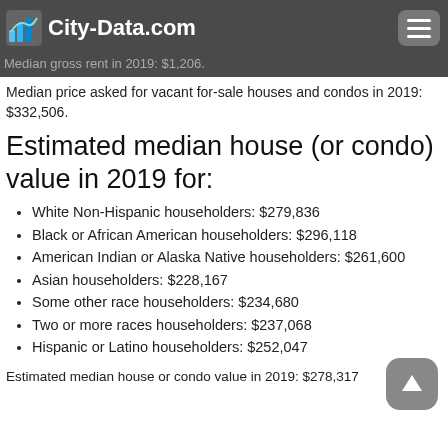City-Data.com
Median gross rent in 2019: $1,206.
Median price asked for vacant for-sale houses and condos in 2019: $332,506.
Estimated median house (or condo) value in 2019 for:
White Non-Hispanic householders: $279,836
Black or African American householders: $296,118
American Indian or Alaska Native householders: $261,600
Asian householders: $228,167
Some other race householders: $234,680
Two or more races householders: $237,068
Hispanic or Latino householders: $252,047
Estimated median house or condo value in 2019: $278,317